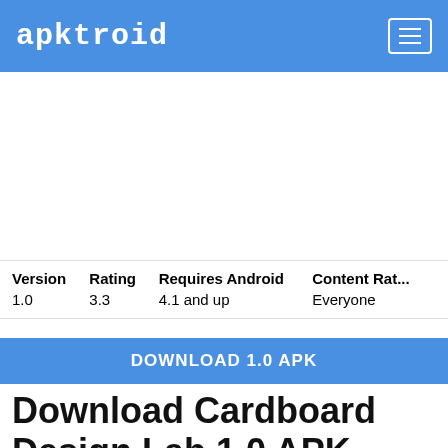apktroid
| Version | Rating | Requires Android | Content Rat... |
| --- | --- | --- | --- |
| 1.0 | 3.3 | 4.1 and up | Everyone |
DOWNLOAD 1.0 APK
Download Cardboard Design Lab 1.0 APK